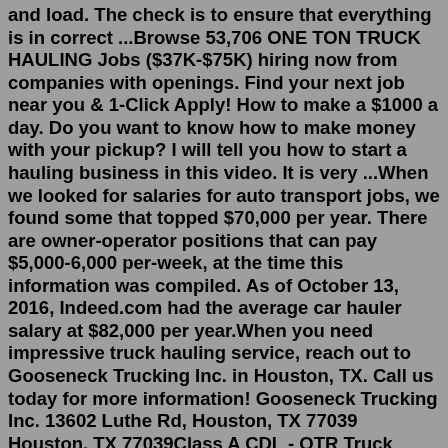and load. The check is to ensure that everything is in correct ...Browse 53,706 ONE TON TRUCK HAULING Jobs ($37K-$75K) hiring now from companies with openings. Find your next job near you & 1-Click Apply! How to make a $1000 a day. Do you want to know how to make money with your pickup? I will tell you how to start a hauling business in this video. It is very ...When we looked for salaries for auto transport jobs, we found some that topped $70,000 per year. There are owner-operator positions that can pay $5,000-6,000 per-week, at the time this information was compiled. As of October 13, 2016, Indeed.com had the average car hauler salary at $82,000 per year.When you need impressive truck hauling service, reach out to Gooseneck Trucking Inc. in Houston, TX. Call us today for more information! Gooseneck Trucking Inc. 13602 Luthe Rd, Houston, TX 77039 Houston, TX 77039Class A CDL - OTR Truck Driver (Owner Operator) Moving America Forward, Inc. Pomona, CA Quick Apply Pay $100K to $200K Annually Type Contractor We are seeking a